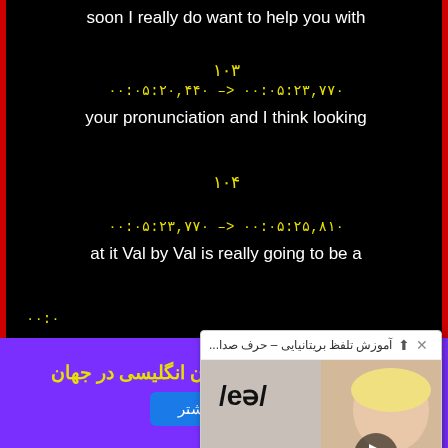soon I really do want to help you with
۱۰۳
۰۰:۰۵:۲۰,۴۴۰ --> ۰۰:۰۵:۲۳,۷۷۰
your pronunciation and I think looking
۱۰۴
۰۰:۰۵:۲۳,۷۷۰ --> ۰۰:۰۵:۲۵,۸۱۰
at it Val by Val is really going to be a
۰۰:۰...
good w...
[Figure (screenshot): A popup overlay showing a video thumbnail of a woman with phonetic symbols /eə/ and /e/ /ə/ visible, with a play button. Header shows 'آموزش تلفظ بریتانیایی – حرف صدا...' with close and up icons.]
کاملترین پکیچ آموزش زبان انگلیسی در جهان
اطلاعات بیشتر